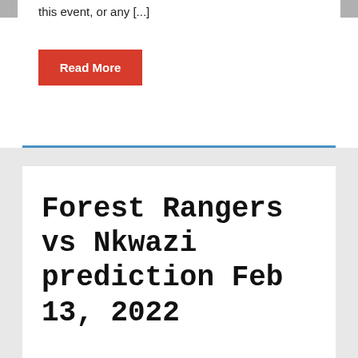this event, or any [...]
Read More
Forest Rangers vs Nkwazi prediction Feb 13, 2022